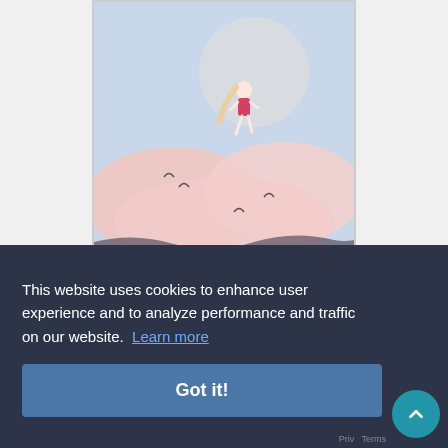[Figure (illustration): Book cover illustration showing a figure running through pink clouds against a blue-gray sky background, with 'Copyrighted Material' watermark at the bottom]
Whether used as a read-aloud or a bridge between early readers
This website uses cookies to enhance user experience and to analyze performance and traffic on our website.  Learn more
Got it!